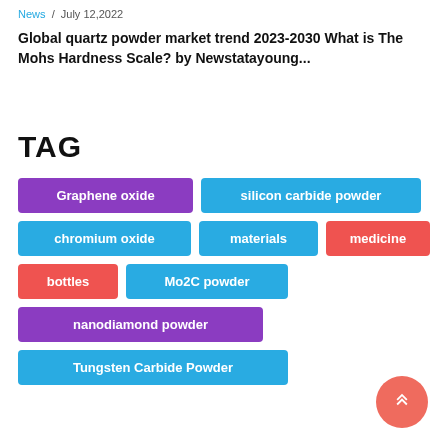News / July 12,2022
Global quartz powder market trend 2023-2030 What is The Mohs Hardness Scale? by Newstatayoung...
TAG
Graphene oxide
silicon carbide powder
chromium oxide
materials
medicine
bottles
Mo2C powder
nanodiamond powder
Tungsten Carbide Powder